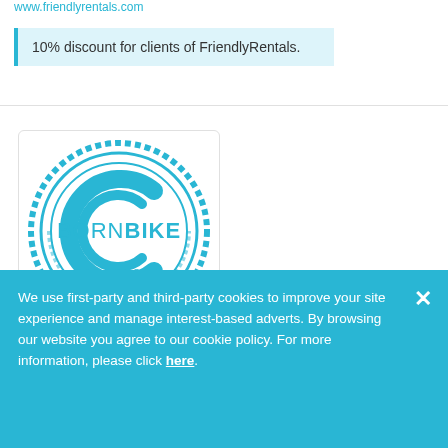www.friendlyrentals.com
10% discount for clients of FriendlyRentals.
[Figure (logo): BORNBIKE Barcelona Rental & Tours logo — circular blue emblem with concentric rings and the text BORNBIKE BARCELONA, below which is the italic text 'Rental & Tours' in cyan blue]
BORNBIKE Barcelona
BORNBIKE suggests that you discover cultural and maritime
We use first-party and third-party cookies to improve your site experience and manage interest-based adverts. By browsing our website you agree to our cookie policy. For more information, please click here.